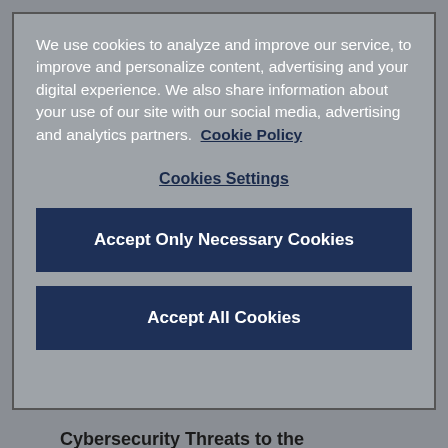We use cookies to analyze and improve our service, to improve and personalize content, advertising and your digital experience. We also share information about your use of our site with our social media, advertising and analytics partners.  Cookie Policy
Cookies Settings
Accept Only Necessary Cookies
Accept All Cookies
Cybersecurity Threats to the Real Estate Industry
[Figure (photo): Hands of multiple people gathered together holding a small green plant sapling on a wooden table background]